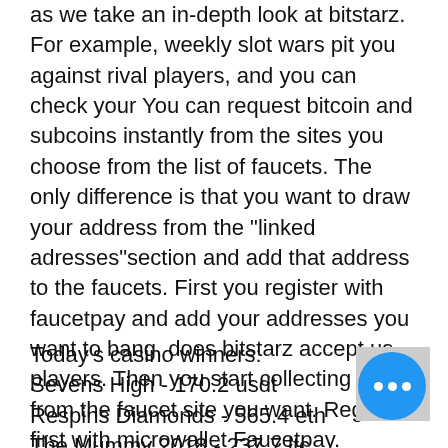as we take an in-depth look at bitstarz. For example, weekly slot wars pit you against rival players, and you can check your You can request bitcoin and subcoins instantly from the sites you choose from the list of faucets. The only difference is that you want to draw your address from the "linked adresses"section and add that address to the faucets. First you register with faucetpay and add your addresses you want to bang, does bitstarz accept us players. Then you start collecting coins from the faucet site you want. Register first with microwallet Faucetpay.
Today's casino winners:
Sevens High - 170.2 usdt
Respins Diamonds - 565.4 eth
The Mummy 2018 - 237.7 ltc
Monsters Cash - 632.6 usdt
Fruit Boxes - 321.1 eth
Frozen Fruits Red Hot Firepot - 330.4 ltc